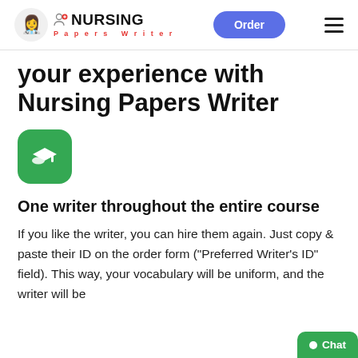NURSING Papers Writer | Order
your experience with Nursing Papers Writer
[Figure (logo): Green rounded square with white graduation cap icon]
One writer throughout the entire course
If you like the writer, you can hire them again. Just copy & paste their ID on the order form ("Preferred Writer's ID" field). This way, your vocabulary will be uniform, and the writer will be